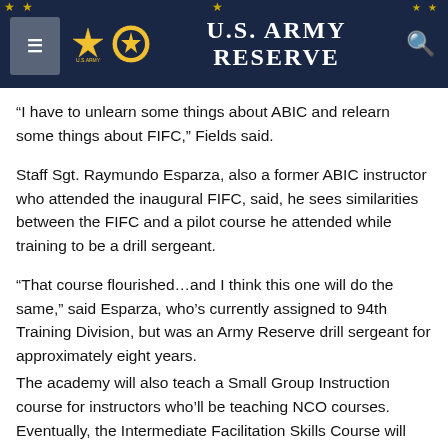U.S. Army Reserve
“I have to unlearn some things about ABIC and relearn some things about FIFC,” Fields said.
Staff Sgt. Raymundo Esparza, also a former ABIC instructor who attended the inaugural FIFC, said, he sees similarities between the FIFC and a pilot course he attended while training to be a drill sergeant.
“That course flourished…and I think this one will do the same,” said Esparza, who’s currently assigned to 94th Training Division, but was an Army Reserve drill sergeant for approximately eight years.
The academy will also teach a Small Group Instruction course for instructors who’ll be teaching NCO courses. Eventually, the Intermediate Facilitation Skills Course will replace the SGI course.